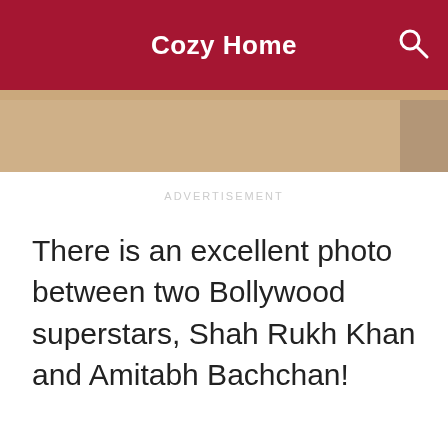Cozy Home
[Figure (photo): Partial photo strip showing cropped image at top of page]
ADVERTISEMENT
There is an excellent photo between two Bollywood superstars, Shah Rukh Khan and Amitabh Bachchan!
ADVERTISEMENT